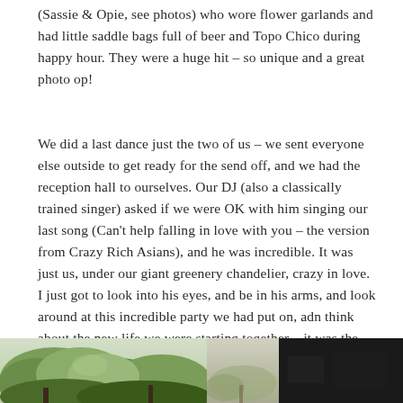(Sassie & Opie, see photos) who wore flower garlands and had little saddle bags full of beer and Topo Chico during happy hour. They were a huge hit – so unique and a great photo op!
We did a last dance just the two of us – we sent everyone else outside to get ready for the send off, and we had the reception hall to ourselves. Our DJ (also a classically trained singer) asked if we were OK with him singing our last song (Can't help falling in love with you – the version from Crazy Rich Asians), and he was incredible. It was just us, under our giant greenery chandelier, crazy in love. I just got to look into his eyes, and be in his arms, and look around at this incredible party we had put on, adn think about the new life we were starting together .. it was the perfect end to the perfect day.
[Figure (photo): Partial view of outdoor/garden photos at bottom of page: a green tree/foliage photo on the left, a lighter landscape photo in the middle, and a dark/night photo on the right.]